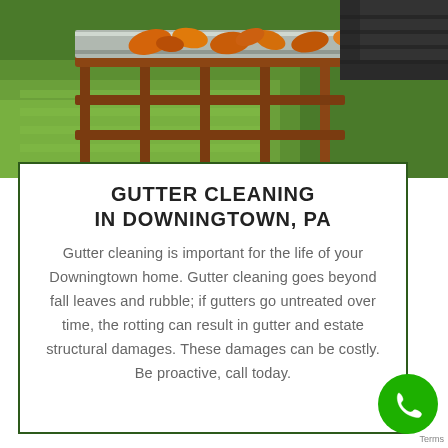[Figure (photo): Aerial view of a rain gutter filled with autumn leaves on a residential house, showing a brown deck railing and green grass below]
GUTTER CLEANING IN DOWNINGTOWN, PA
Gutter cleaning is important for the life of your Downingtown home. Gutter cleaning goes beyond fall leaves and rubble; if gutters go untreated over time, the rotting can result in gutter and estate structural damages. These damages can be costly. Be proactive, call today.